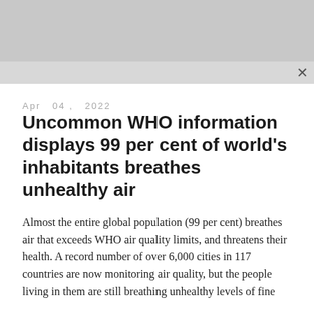Apr 04, 2022
Uncommon WHO information displays 99 per cent of world's inhabitants breathes unhealthy air
Almost the entire global population (99 per cent) breathes air that exceeds WHO air quality limits, and threatens their health. A record number of over 6,000 cities in 117 countries are now monitoring air quality, but the people living in them are still breathing unhealthy levels of fine